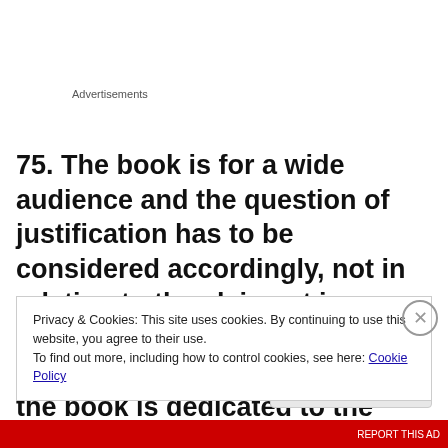Advertisements
75. The book is for a wide audience and the question of justification has to be considered accordingly, not in relation to the claimant in isolation. In point of fact, the father's case is that although the book is dedicated to the claimant, he would not expect him to
Privacy & Cookies: This site uses cookies. By continuing to use this website, you agree to their use.
To find out more, including how to control cookies, see here: Cookie Policy
Close and accept